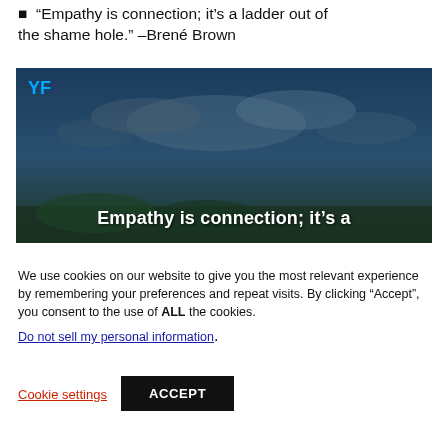“Empathy is connection; it’s a ladder out of the shame hole.” –Brené Brown
[Figure (screenshot): Video thumbnail with dark blue sky background, YF logo in top-left corner in blue, and white bold text at bottom reading 'Empathy is connection; it’s a']
We use cookies on our website to give you the most relevant experience by remembering your preferences and repeat visits. By clicking “Accept”, you consent to the use of ALL the cookies.
Do not sell my personal information.
Cookie settings   ACCEPT